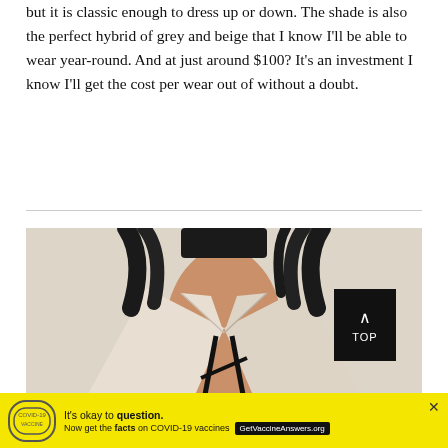but it is classic enough to dress up or down. The shade is also the perfect hybrid of grey and beige that I know I'll be able to wear year-round. And at just around $100? It's an investment I know I'll get the cost per wear out of without a doubt.
[Figure (photo): Close-up photo of a woman wearing a light beige/greige blazer over a black strappy top. Her braided hair is visible at the top. The background is a light neutral color.]
[Figure (other): Advertisement banner with yellow background. Text reads: It's okay to question. Now get the facts on COVID-19 vaccines. GetVaccineAnswers.org badge shown.]